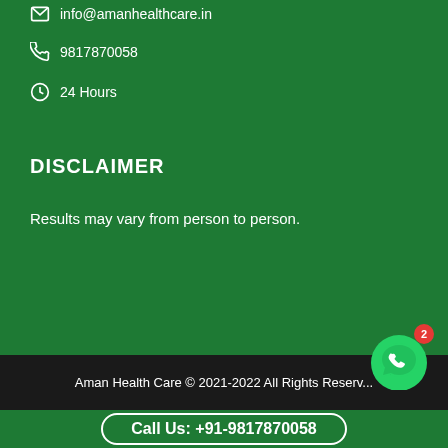info@amanhealthcare.in
9817870058
24 Hours
DISCLAIMER
Results may vary from person to person.
Aman Health Care © 2021-2022 All Rights Reserved
Call Us: +91-9817870058